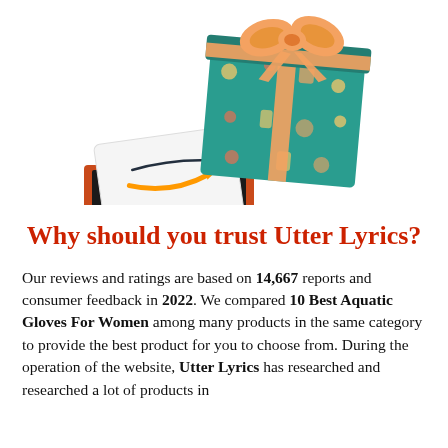[Figure (photo): Amazon gift card in an open orange box with teal baby-themed wrapping paper and an orange ribbon bow on top]
Why should you trust Utter Lyrics?
Our reviews and ratings are based on 14,667 reports and consumer feedback in 2022. We compared 10 Best Aquatic Gloves For Women among many products in the same category to provide the best product for you to choose from. During the operation of the website, Utter Lyrics has researched and researched a lot of products in